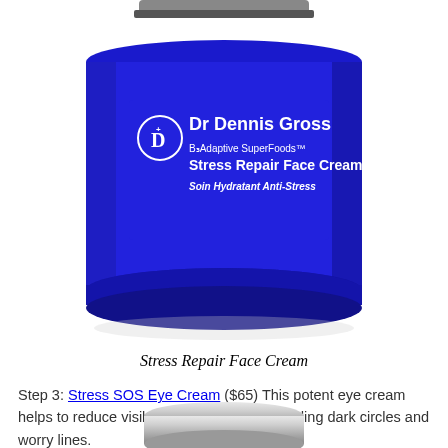[Figure (photo): Blue cylindrical jar of Dr Dennis Gross B3Adaptive SuperFoods Stress Repair Face Cream with white text label on a white background]
Stress Repair Face Cream
Step 3: Stress SOS Eye Cream ($65) This potent eye cream helps to reduce visible signs of stress, including dark circles and worry lines.
[Figure (photo): Partial view of a silver/chrome lidded jar product at the bottom of the page]